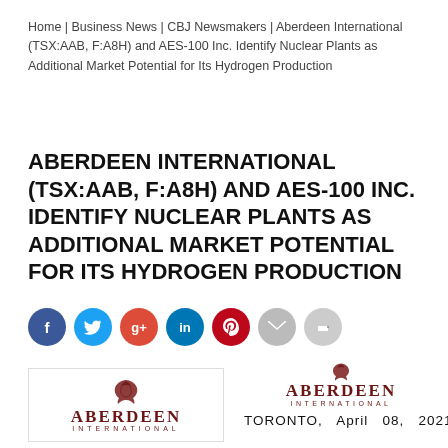Home | Business News | CBJ Newsmakers | Aberdeen International (TSX:AAB, F:A8H) and AES-100 Inc. Identify Nuclear Plants as Additional Market Potential for Its Hydrogen Production
ABERDEEN INTERNATIONAL (TSX:AAB, F:A8H) AND AES-100 INC. IDENTIFY NUCLEAR PLANTS AS ADDITIONAL MARKET POTENTIAL FOR ITS HYDROGEN PRODUCTION
[Figure (logo): Aberdeen International logo — crest icon above the name ABERDEEN INTERNATIONAL in dark red/maroon serif lettering, inside a bordered box]
[Figure (logo): Aberdeen International logo — crest icon above the name ABERDEEN INTERNATIONAL in dark red/maroon serif lettering, followed by text: TORONTO, April 08, 2021]